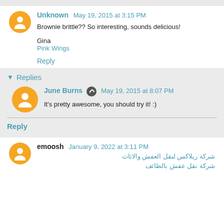Unknown May 19, 2015 at 3:15 PM
Brownie brittle?? So interesting, sounds delicious!

Gina
Pink Wings
Reply
Replies
June Burns May 19, 2015 at 8:07 PM
It's pretty awesome, you should try it! :)
Reply
emoosh January 9, 2022 at 3:11 PM
شركة ريلاكس لنقل العفش والاثاث
شركة نقل عفش بالطائف